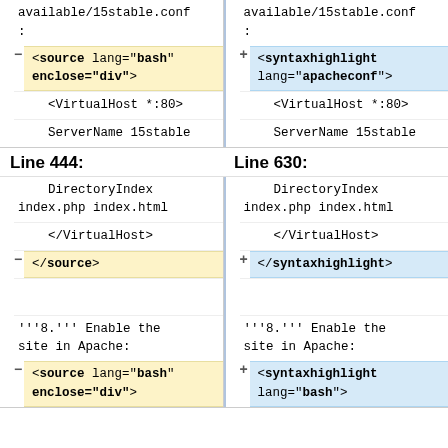[Figure (other): Two-column diff view showing code comparison. Left column shows source lang bash enclose div tag highlighted yellow with minus marker, right column shows syntaxhighlight lang apacheconf tag highlighted blue with plus marker. Both columns show VirtualHost and ServerName 15stable code lines.]
Line 444:
Line 630:
[Figure (other): Two-column diff view. Left column shows DirectoryIndex index.php index.html and VirtualHost closing tag, then source closing tag highlighted yellow with minus marker. Right shows same with syntaxhighlight closing tag highlighted blue with plus marker. Both then show empty line and text about enabling the site in Apache, followed by source/syntaxhighlight opening tags with highlights.]